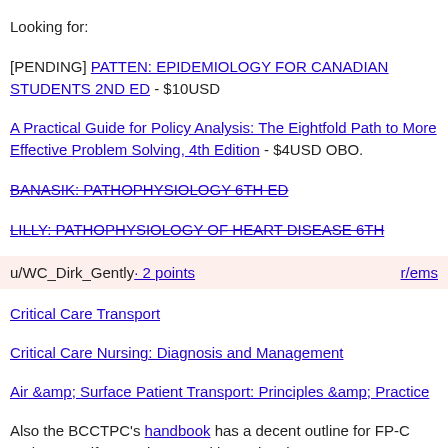Looking for:
[PENDING] PATTEN: EPIDEMIOLOGY FOR CANADIAN STUDENTS 2ND ED - $10USD
A Practical Guide for Policy Analysis: The Eightfold Path to More Effective Problem Solving, 4th Edition - $4USD OBO.
BANASIK: PATHOPHYSIOLOGY 6TH ED
LILLY: PATHOPHYSIOLOGY OF HEART DISEASE 6TH
u/WC_Dirk_Gently · 2 points   r/ems
Critical Care Transport
Critical Care Nursing: Diagnosis and Management
Air &amp; Surface Patient Transport: Principles &amp; Practice
Also the BCCTPC's handbook has a decent outline for FP-C and CCP-C if you're interested in getting those certs.
u/Insanelopez · 2 points   r/army
This one